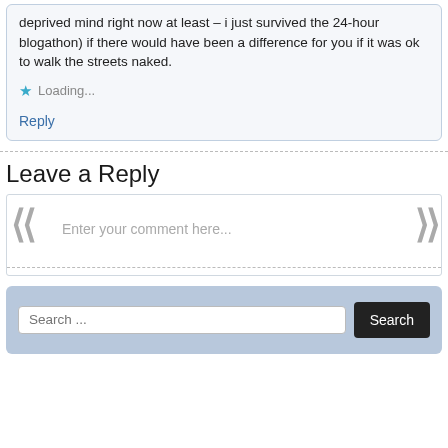deprived mind right now at least – i just survived the 24-hour blogathon) if there would have been a difference for you if it was ok to walk the streets naked.
Loading...
Reply
Leave a Reply
Enter your comment here...
Search ...
Search